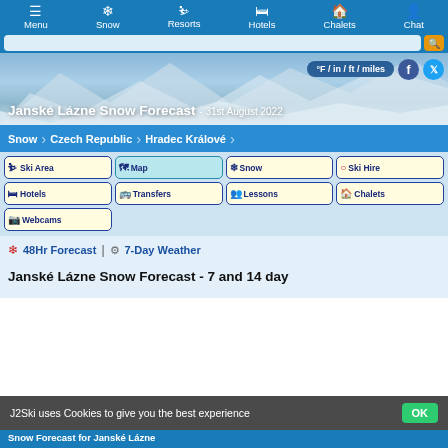Menu | Snow | Resorts | Hotels | Chalets | Chat
[Figure (screenshot): Navigation bar with menu items: Menu, Snow, Resorts, Hotels, Chalets, Chat with icons]
[Figure (photo): Snowy mountain hero image with title 'Janské Lázne Snow Forecast - 31st August 2022', unit toggle button °F/in/ft/miles, Facebook and Twitter icons]
Snow > Czech Republic > Hradec Králové
Ski Area
Map
Snow
Ski Hire
Hotels
Transfers
Lessons
Chalets
Webcams
❄ 48Hr Forecast | ⚙ 7-Day Weather
Janské Lázne Snow Forecast - 7 and 14 day
J2Ski uses Cookies to give you the best experience
Snow Forecast for Janské Lázne